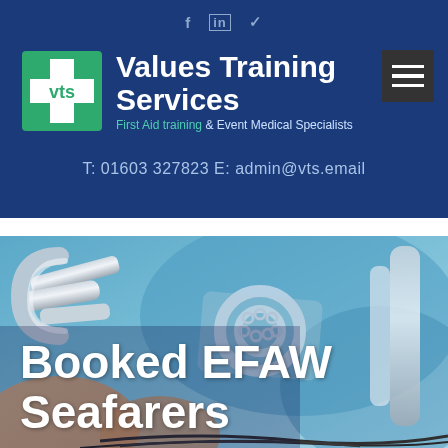f  in  ⁀
[Figure (logo): VTS Values Training Services logo with green cross, tagline: First Aid training & Event Medical Specialists]
T: 01603 327823  E: admin@vts.email
[Figure (photo): Close-up photo of medical/first aid equipment, hands working with metal clasps and tubing on blue background]
Booked EFAW Seafarers